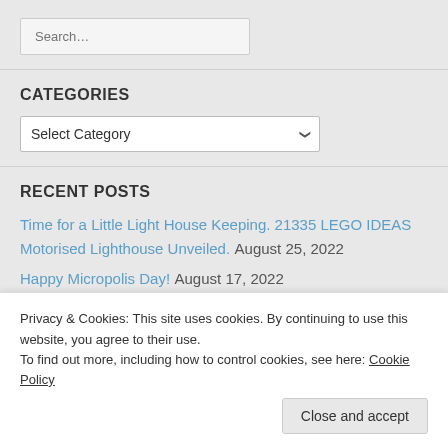Search...
CATEGORIES
Select Category
RECENT POSTS
Time for a Little Light House Keeping. 21335 LEGO IDEAS Motorised Lighthouse Unveiled. August 25, 2022
Happy Micropolis Day! August 17, 2022
Collectable Minifigures Series 23: Rambling Review
Privacy & Cookies: This site uses cookies. By continuing to use this website, you agree to their use. To find out more, including how to control cookies, see here: Cookie Policy
Close and accept